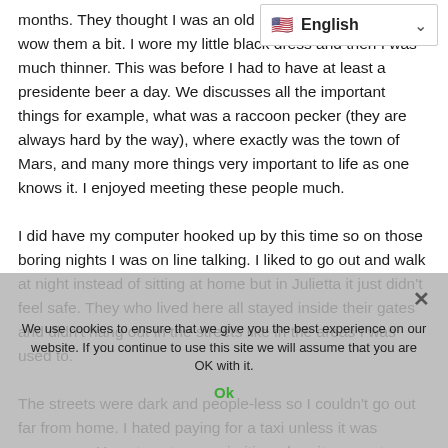[Figure (screenshot): Language selector bar showing US flag and 'English' with a dropdown chevron]
months. They thought I was an old... had to wow them a bit. I wore my little black dress and then I was much thinner. This was before I had to have at least a presidente beer a day. We discusses all the important things for example, what was a raccoon pecker (they are always hard by the way), where exactly was the town of Mars, and many more things very important to life as one knows it. I enjoyed meeting these people much.
I did have my computer hooked up by this time so on those boring nights I was on line talking. I liked to go out and walk at night instead of sitting at home but in Julietta it just didn't feel safe. They who lived here all stayed inside their gates and didn't hang out in the streets like in the areas I was used to.
The streets were dark and people-less so I couldn't go out far from home. I hated paying for a taxi unless it was necessary. Have to set your priorities when it comes to spending money. But it was all good. I did have a lot of company and my neightbors were really nice people. My one neighbor was from Trinidad Tobago and she was a very interesting human for
We use cookies to ensure that we give you the best experience on our website. If you continue to use this site we will assume that you are OK with it.